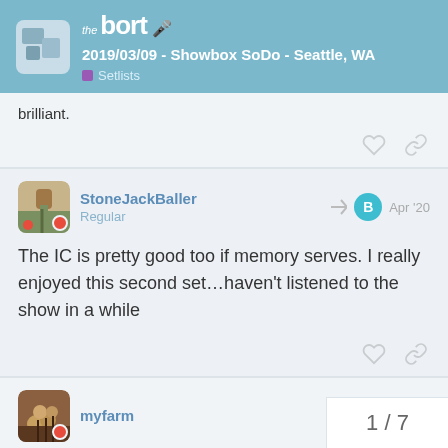2019/03/09 - Showbox SoDo - Seattle, WA | Setlists
brilliant.
StoneJackBaller
Regular
Apr '20
The IC is pretty good too if memory serves. I really enjoyed this second set…haven't listened to the show in a while
myfarm
Apr '20
Soty
1 / 7